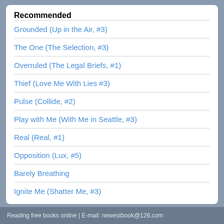Recommended
Grounded (Up in the Air, #3)
The One (The Selection, #3)
Overruled (The Legal Briefs, #1)
Thief (Love Me With Lies #3)
Pulse (Collide, #2)
Play with Me (With Me in Seattle, #3)
Real (Real, #1)
Opposition (Lux, #5)
Barely Breathing
Ignite Me (Shatter Me, #3)
Reading free books online | E-mail: newestbook@126.com